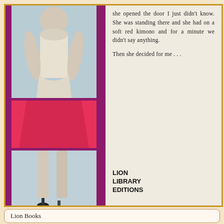[Figure (illustration): Book cover back panel: left side shows a collage of three photo strips on a magenta/purple background — top strip shows a woman's torso in a light blue dress, middle strip is solid red/pink, bottom strip shows legs in heels. Right side shows cream/off-white background with excerpt text and publisher logo.]
she opened the door I just didn't know. She was standing there and she had on a soft red kimono and for a minute we didn't say anything.
Then she decided for me…
LION
LIBRARY
EDITIONS
Lion Books
Criss Cross
Don Tracy